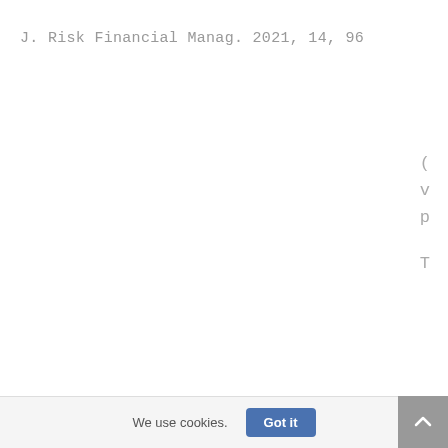J. Risk Financial Manag. 2021, 14, 96
( v p T
We use cookies.
Got it